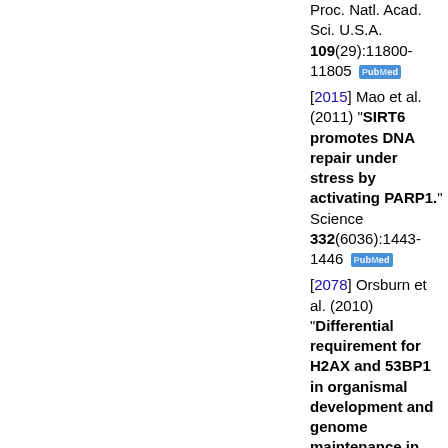Proc. Natl. Acad. Sci. U.S.A. 109(29):11800-11805 [PubMed]
[2015] Mao et al. (2011) "SIRT6 promotes DNA repair under stress by activating PARP1." Science 332(6036):1443-1446 [PubMed]
[2078] Orsburn et al. (2010) "Differential requirement for H2AX and 53BP1 in organismal development and genome maintenance in the absence of poly(ADP)ribosyl...